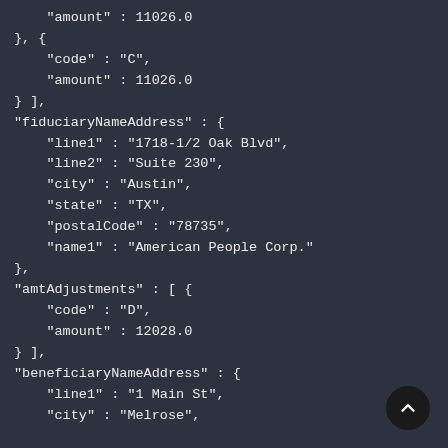"amount" : 11026.0
}, {
    "code" : "C",
    "amount" : 11026.0
} ],
"fiduciaryNameAddress" : {
    "line1" : "1718-1/2 Oak Blvd",
    "line2" : "Suite 230",
    "city" : "Austin",
    "state" : "TX",
    "postalCode" : "78735",
    "name1" : "American People Corp."
},
"amtAdjustments" : [ {
    "code" : "D",
    "amount" : 12028.0
} ],
"beneficiaryNameAddress" : {
    "line1" : "1 Main St",
    "city" : "Melrose",